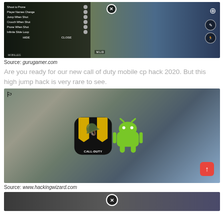[Figure (screenshot): Call of Duty Mobile gameplay screenshot with a settings/hack menu overlay showing options: Shoot to Prone, Player Names Change, Jump When Shot, Crouch When Shot, Prone When Shot, Infinite Slide Loop, with HIDE and CLOSE buttons]
Source: gurugamer.com
Are you ready for our new call of duty mobile cp hack 2020. But this high jump hack is very rare to see.
[Figure (screenshot): Call of Duty Mobile gameplay screenshot with Call of Duty app icon and Android logo overlay, and a red scroll-up button]
Source: www.hackingwizard.com
[Figure (screenshot): Partial screenshot showing bottom portion with a circular X close button]